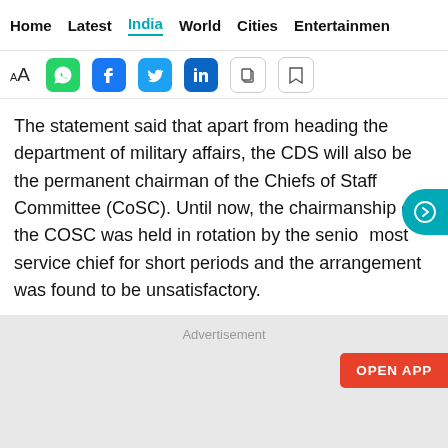Home  Latest  India  World  Cities  Entertainment
The statement said that apart from heading the department of military affairs, the CDS will also be the permanent chairman of the Chiefs of Staff Committee (CoSC). Until now, the chairmanship of the COSC was held in rotation by the senior most service chief for short periods and the arrangement was found to be unsatisfactory.
Advertisement